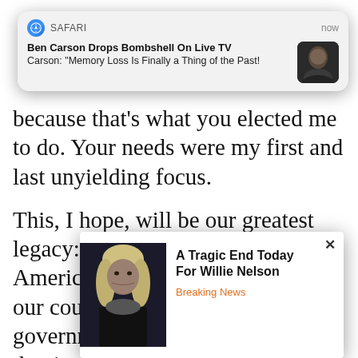[Figure (screenshot): Safari push notification banner showing: SAFARI / now | Ben Carson Drops Bombshell On Live TV | Carson: "Memory Loss Is Finally a Thing of the Past!" with a thumbnail photo of Ben Carson]
because that's what you elected me to do. Your needs were my first and last unyielding focus.

This, I hope, will be our greatest legacy: Together, we put the American people back in charge of our country. We restored self-government. We restored the idea that in America no one is forgotten, because everyone matters and everyone has a voice. We fought for the principle that every citize... treatm... made... treate..., and to ha... to
[Figure (screenshot): Ad popup overlay with × close button. Shows photo of Willie Nelson on the left, and text: 'A Tragic End Today For Willie Nelson' / 'Breaking News']